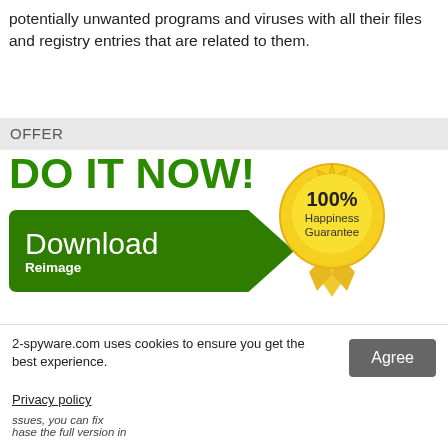potentially unwanted programs and viruses with all their files and registry entries that are related to them.
OFFER
[Figure (infographic): DO IT NOW! green button with Download Reimage arrow button and 100% Happiness Guarantee gold badge]
Compatible with Microsoft Windows
What to do if failed?
If you failed to fix virus damage using Reimage, submit a question to our support team and provide as much details as possible.
Reimage has a free limited scanner. Reimage offers more through scan when you purchase the full version.
2-spyware.com uses cookies to ensure you get the best experience.
Privacy policy
Agree